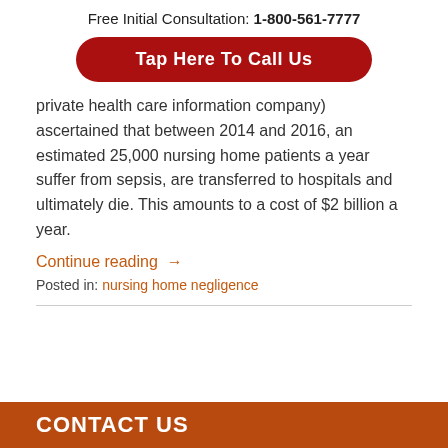Free Initial Consultation: 1-800-561-7777
[Figure (other): Red rounded rectangle button with white text: Tap Here To Call Us]
private health care information company) ascertained that between 2014 and 2016, an estimated 25,000 nursing home patients a year suffer from sepsis, are transferred to hospitals and ultimately die. This amounts to a cost of $2 billion a year.
Continue reading →
Posted in: nursing home negligence
CONTACT US